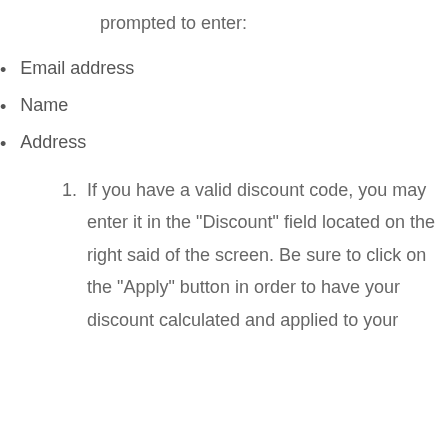prompted to enter:
Email address
Name
Address
1. If you have a valid discount code, you may enter it in the "Discount" field located on the right said of the screen. Be sure to click on the "Apply" button in order to have your discount calculated and applied to your